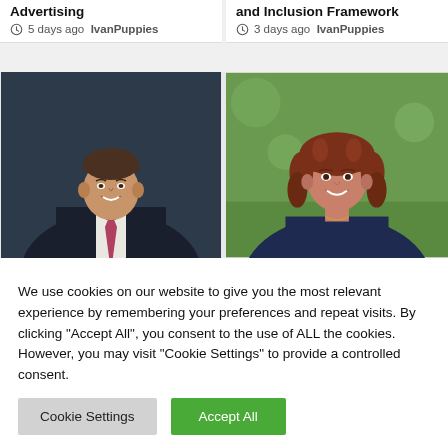Advertising
5 days ago  IvanPuppies
and Inclusion Framework
3 days ago  IvanPuppies
[Figure (photo): Professional headshot of a man in a dark suit with a patterned tie, smiling, against a dark blue background]
[Figure (photo): Professional headshot of a woman with curly auburn hair, smiling, wearing a dark blazer, against a green outdoor background]
We use cookies on our website to give you the most relevant experience by remembering your preferences and repeat visits. By clicking "Accept All", you consent to the use of ALL the cookies. However, you may visit "Cookie Settings" to provide a controlled consent.
Cookie Settings
Accept All